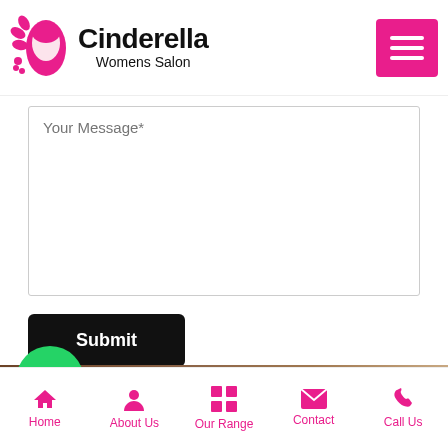[Figure (logo): Cinderella Womens Salon logo with pink floral and face icon]
[Figure (screenshot): Hamburger menu button in magenta/pink]
Your Message*
Submit
[Figure (illustration): WhatsApp green circle button with phone icon]
Enquire Now
[Figure (illustration): Scroll up button pink circle with chevron up]
Testimonials
Home
About Us
Our Range
Contact
Call Us